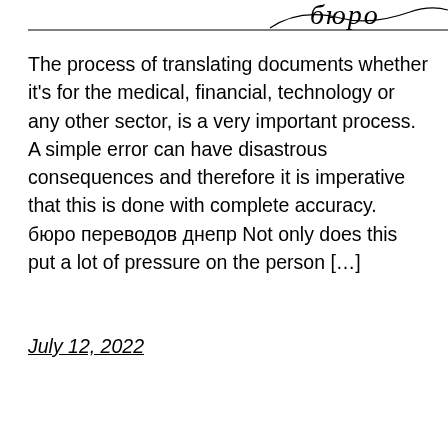[decorative header with cursive/script text and horizontal rule]
The process of translating documents whether it's for the medical, financial, technology or any other sector, is a very important process. A simple error can have disastrous consequences and therefore it is imperative that this is done with complete accuracy. бюро переводов днепр Not only does this put a lot of pressure on the person […]
July 12, 2022